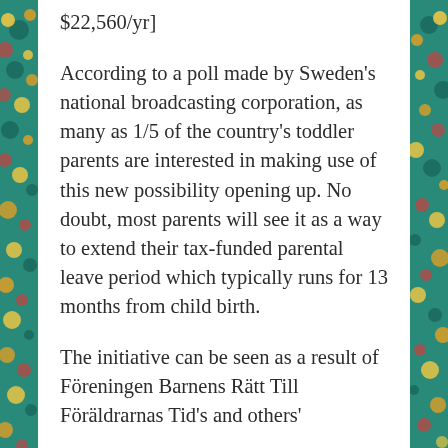$22,560/yr]
According to a poll made by Sweden's national broadcasting corporation, as many as 1/5 of the country's toddler parents are interested in making use of this new possibility opening up. No doubt, most parents will see it as a way to extend their tax-funded parental leave period which typically runs for 13 months from child birth.
The initiative can be seen as a result of Föreningen Barnens Rätt Till Föräldrarnas Tid's and others'